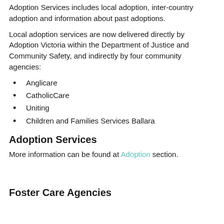Adoption Services includes local adoption, inter-country adoption and information about past adoptions.
Local adoption services are now delivered directly by Adoption Victoria within the Department of Justice and Community Safety, and indirectly by four community agencies:
Anglicare
CatholicCare
Uniting
Children and Families Services Ballara
Adoption Services
More information can be found at Adoption section.
Foster Care Agencies